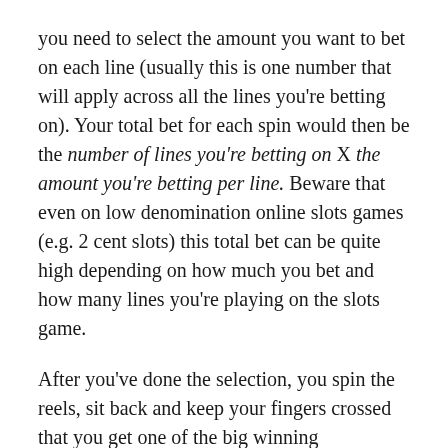you need to select the amount you want to bet on each line (usually this is one number that will apply across all the lines you're betting on). Your total bet for each spin would then be the number of lines you're betting on X the amount you're betting per line. Beware that even on low denomination online slots games (e.g. 2 cent slots) this total bet can be quite high depending on how much you bet and how many lines you're playing on the slots game.
After you've done the selection, you spin the reels, sit back and keep your fingers crossed that you get one of the big winning combinations described in that slots game's payout table. The payout table details all the winning combinations, wild symbol payouts (wild symbols substitute for some or all other symbols depending on the individual game rules). Sometimes bonus features are triggered with